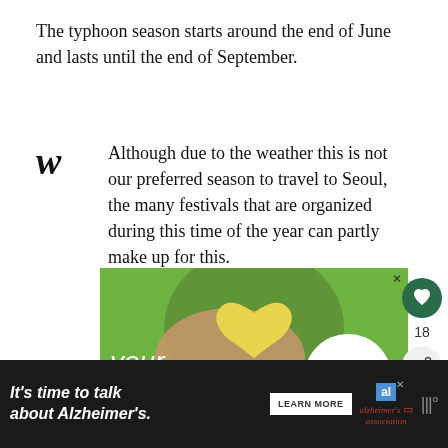The typhoon season starts around the end of June and lasts until the end of September.
Although due to the weather this is not our preferred season to travel to Seoul, the many festivals that are organized during this time of the year can partly make up for this.
[Figure (screenshot): Advertisement banner: green background ad for 'cookies for kids' cancer' showing hands holding a heart-shaped cookie, with text 'your HOBBY is' overlaid. Includes a close button (X) top right.]
[Figure (screenshot): Alzheimer's Association advertisement banner at bottom: dark background with italic text 'It’s time to talk about Alzheimer’s.' and a LEARN MORE button with the Alzheimer's Association logo.]